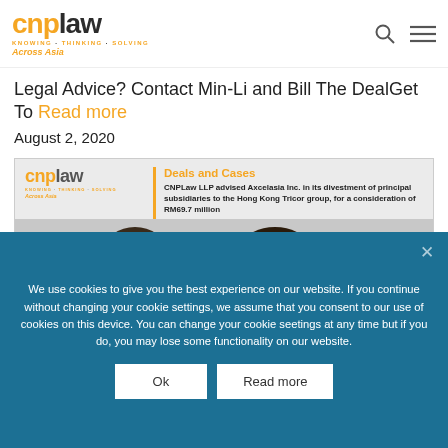cnplaw — KNOWING · THINKING · SOLVING Across Asia
Legal Advice? Contact Min-Li and Bill The DealGet To Read more
August 2, 2020
[Figure (infographic): CNPLaw promotional card showing the firm logo, 'Deals and Cases' heading, text about CNPLaw LLP advising Axcelasia Inc. in its divestment of principal subsidiaries to the Hong Kong Tricor group, for a consideration of RM69.7 million, and photos of two team members including Tan Min-Li]
We use cookies to give you the best experience on our website. If you continue without changing your cookie settings, we assume that you consent to our use of cookies on this device. You can change your cookie seetings at any time but if you do, you may lose some functionality on our website.
Ok
Read more